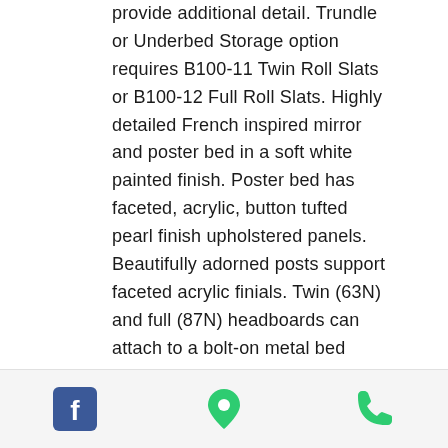provide additional detail. Trundle or Underbed Storage option requires B100-11 Twin Roll Slats or B100-12 Full Roll Slats. Highly detailed French inspired mirror and poster bed in a soft white painted finish. Poster bed has faceted, acrylic, button tufted pearl finish upholstered panels. Beautifully adorned posts support faceted acrylic finials. Twin (63N) and full (87N) headboards can attach to a bolt-on metal bed frame B100-21. Side roller glides for smooth operating drawers. Safety is a top priority, clothing storage units are designed to meet the most current
[Figure (infographic): Footer bar with three icons: Facebook logo (blue square with white F), a green map pin/location icon, and a green phone handset icon]